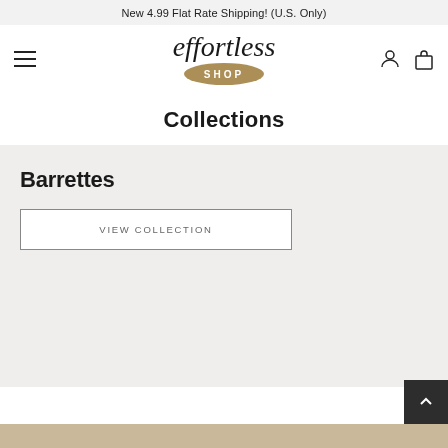New 4.99 Flat Rate Shipping! (U.S. Only)
[Figure (logo): Effortless Shop cursive logo with gold brush stroke background under 'SHOP' text]
Collections
Barrettes
VIEW COLLECTION